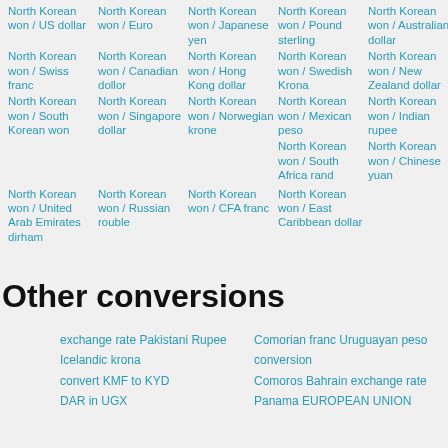North Korean won / US dollar
North Korean won / Euro
North Korean won / Japanese yen
North Korean won / Pound sterling
North Korean won / Australian dollar
North Korean won / Swiss franc
North Korean won / Canadian dollor
North Korean won / Hong Kong dollar
North Korean won / Swedish Krona
North Korean won / New Zealand dollar
North Korean won / South Korean won
North Korean won / Singapore dollar
North Korean won / Norwegian krone
North Korean won / Mexican peso
North Korean won / Indian rupee
North Korean won / South Africa rand
North Korean won / Chinese yuan
North Korean won / United Arab Emirates dirham
North Korean won / Russian rouble
North Korean won / CFA franc
North Korean won / East Caribbean dollar
Other conversions
exchange rate Pakistani Rupee Icelandic krona
convert KMF to KYD
DAR in UGX
Comorian franc Uruguayan peso conversion
Comoros Bahrain exchange rate
Panama EUROPEAN UNION